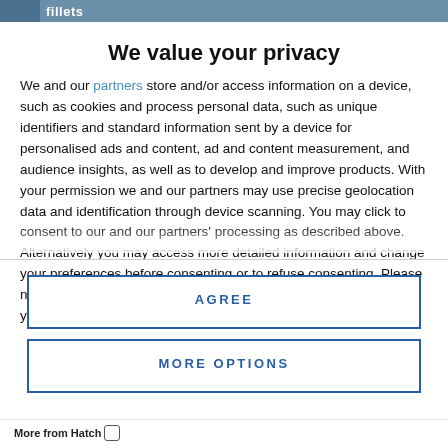fillets
We value your privacy
We and our partners store and/or access information on a device, such as cookies and process personal data, such as unique identifiers and standard information sent by a device for personalised ads and content, ad and content measurement, and audience insights, as well as to develop and improve products. With your permission we and our partners may use precise geolocation data and identification through device scanning. You may click to consent to our and our partners' processing as described above. Alternatively you may access more detailed information and change your preferences before consenting or to refuse consenting. Please note that some processing of your personal data may not require your consent, but you have a right to
AGREE
MORE OPTIONS
More from Hatch